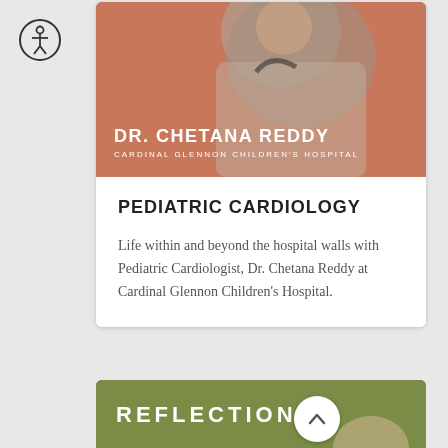[Figure (illustration): Accessibility icon — circle with human figure inside, top-left of page]
[Figure (photo): Pediatric cardiologist Dr. Chetana Reddy card with salmon/orange background, doctor photo (upper torso, stethoscope), name DR. CHETANA REDDY and subtitle CARDINAL GLENNON CHILDREN'S HOSPITAL in white text]
PEDIATRIC CARDIOLOGY
Life within and beyond the hospital walls with Pediatric Cardiologist, Dr. Chetana Reddy at Cardinal Glennon Children's Hospital.
[Figure (photo): Second card partially visible at bottom — olive/green background with white uppercase text REFLECTION and partial photo of a person below]